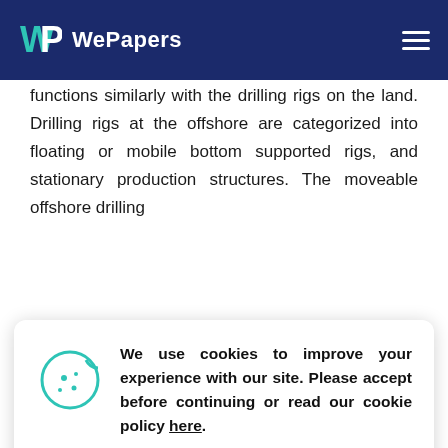WePapers
functions similarly with the drilling rigs on the land. Drilling rigs at the offshore are categorized into floating or mobile bottom supported rigs, and stationary production structures. The moveable offshore drilling
[Figure (infographic): Cookie consent dialog with cookie icon, message text, and ACCEPT button]
Persian Gulf is the Jackup rigs. These rigs function similarly with the drilling barges with around three to four legs being lowered until they reach the sea bed at the drilling sites. These are mostly suitable for the